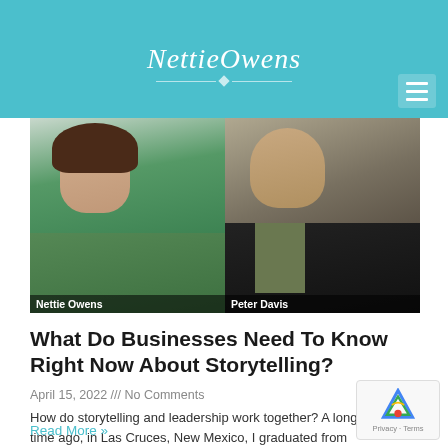NettieOwens
[Figure (photo): Video screenshot showing two people side by side: Nettie Owens (woman in green top) on the left and Peter Davis (man in dark jacket) on the right, with name labels at the bottom of each]
What Do Businesses Need To Know Right Now About Storytelling?
April 15, 2022 /// No Comments
How do storytelling and leadership work together? A long time ago, in Las Cruces, New Mexico, I graduated from college a started doing theater as
Read More »